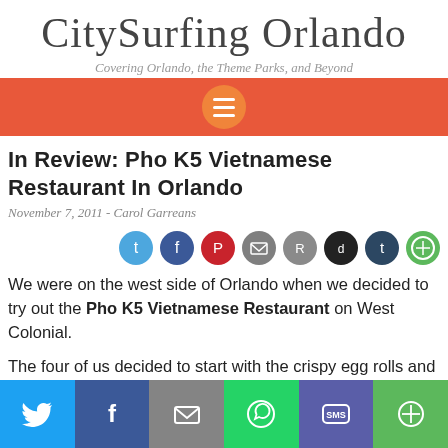CitySurfing Orlando
Covering Orlando, the Theme Parks, and Beyond
[Figure (infographic): Orange navigation bar with hamburger menu circle icon]
In Review: Pho K5 Vietnamese Restaurant In Orlando
November 7, 2011 - Carol Garreans
[Figure (infographic): Row of social sharing icons: Twitter, Facebook, Pinterest, Email, Reddit, Digg, Tumblr, Other]
We were on the west side of Orlando when we decided to try out the Pho K5 Vietnamese Restaurant on West Colonial.
The four of us decided to start with the crispy egg rolls and they
[Figure (infographic): Bottom social sharing bar with Twitter, Facebook, Email, WhatsApp, SMS, and Other share buttons in colored blocks]